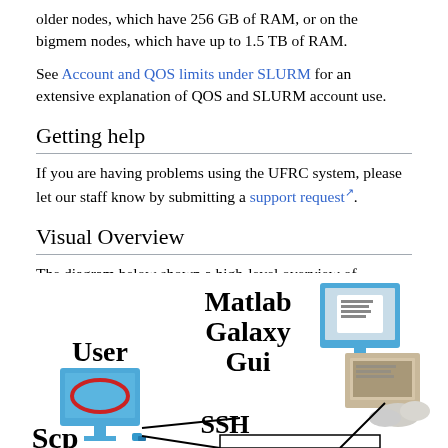older nodes, which have 256 GB of RAM, or on the bigmem nodes, which have up to 1.5 TB of RAM.
See Account and QOS limits under SLURM for an extensive explanation of QOS and SLURM account use.
Getting help
If you are having problems using the UFRC system, please let our staff know by submitting a support request.
Visual Overview
The diagram below shown a high-level overview of HiPerGator use. We will go over each part in sections below
[Figure (infographic): Network diagram showing HiPerGator system overview with User computer on the left with SSH label and Scp label, Matlab/Galaxy/Gui section with server computer on the right, connected by lines to a central HiPerGator system.]